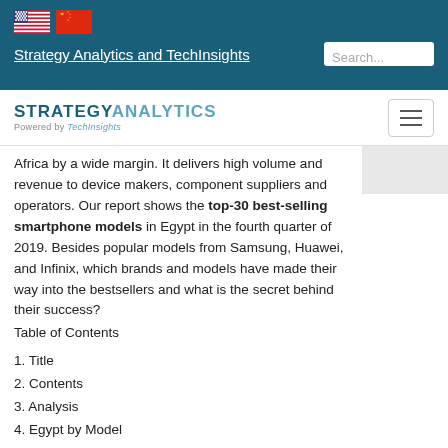Strategy Analytics and TechInsights
[Figure (logo): Strategy Analytics powered by TechInsights logo]
Africa by a wide margin. It delivers high volume and revenue to device makers, component suppliers and operators. Our report shows the top-30 best-selling smartphone models in Egypt in the fourth quarter of 2019. Besides popular models from Samsung, Huawei, and Infinix, which brands and models have made their way into the bestsellers and what is the secret behind their success?
Table of Contents
1. Title
2. Contents
3. Analysis
4. Egypt by Model